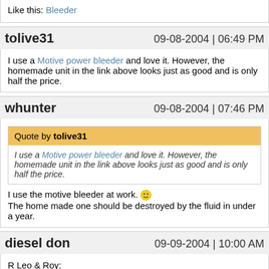Like this: Bleeder
tolive31   09-08-2004 | 06:49 PM
I use a Motive power bleeder and love it. However, the homemade unit in the link above looks just as good and is only half the price.
whunter   09-08-2004 | 07:46 PM
Quote by tolive31
I use a Motive power bleeder and love it. However, the homemade unit in the link above looks just as good and is only half the price.
I use the motive bleeder at work. :) The home made one should be destroyed by the fluid in under a year.
diesel don   09-09-2004 | 10:00 AM
R Leo & Roy:

Thanks for the replies and for the link (as I have most of that material already)